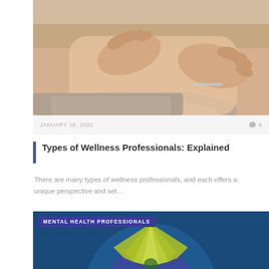[Figure (photo): Close-up photo of a massage therapist's hands performing a neck/shoulder massage on a person lying down with grey/blonde hair]
JANUARY 18, 2022
0
Types of Wellness Professionals: Explained
There are many types of wellness professionals, and each offers a unique perspective and set…
[Figure (infographic): Blue infographic with text 'MENTAL HEALTH PROFESSIONALS' and a circular diagram with yellow/green star-burst shape and green arc on dark blue background]